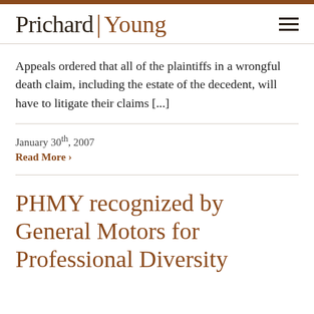Prichard | Young
Appeals ordered that all of the plaintiffs in a wrongful death claim, including the estate of the decedent, will have to litigate their claims [...]
January 30th, 2007
Read More ›
PHMY recognized by General Motors for Professional Diversity